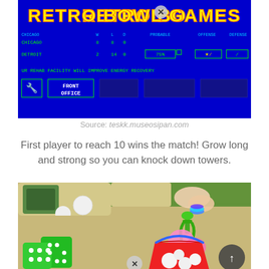[Figure (screenshot): Retro Bowl Games video game screenshot showing blue background with yellow game title 'RETRO BOWL GAMES', team scores for Chicago and Detroit (Detroit: 2 14 0, 75%), a 'FRONT OFFICE' button, and a rehab facility notification]
Source: teskk.museosipan.com
First player to reach 10 wins the match! Grow long and strong so you can knock down towers.
[Figure (photo): Photo of colorful children's tabletop bowling/ball game with green dice, a red bucket with white balls, pink balloon-like objects held by a green clamp, and a child's hand visible in the background on a wooden surface with green grass]